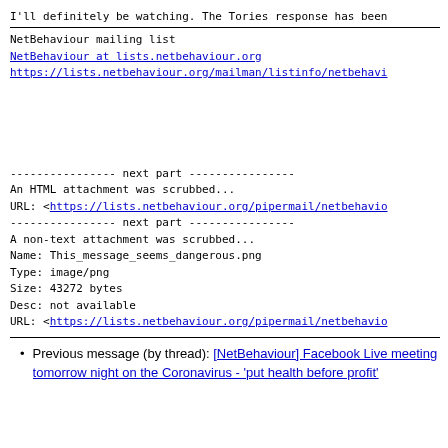I'll definitely be watching. The Tories response has been
NetBehaviour mailing list
NetBehaviour at lists.netbehaviour.org
https://lists.netbehaviour.org/mailman/listinfo/netbehavi
---------------- next part ----------------
An HTML attachment was scrubbed...
URL: <https://lists.netbehaviour.org/pipermail/netbehavio
---------------- next part ----------------
A non-text attachment was scrubbed...
Name: This_message_seems_dangerous.png
Type: image/png
Size: 43272 bytes
Desc: not available
URL: <https://lists.netbehaviour.org/pipermail/netbehavio
Previous message (by thread): [NetBehaviour] Facebook Live meeting tomorrow night on the Coronavirus - 'put health before profit'